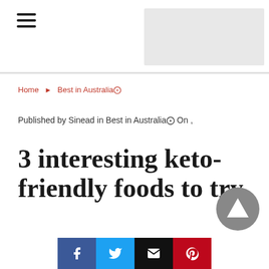Navigation header with hamburger menu and advertisement banner
Home ▶ Best in Australia🌐
Published by Sinead in Best in Australia🌐 On ,
3 interesting keto-friendly foods to try
[Figure (other): Scroll to top button (grey circle with upward triangle arrow)]
Social share buttons: Facebook, Twitter, Email, Pinterest